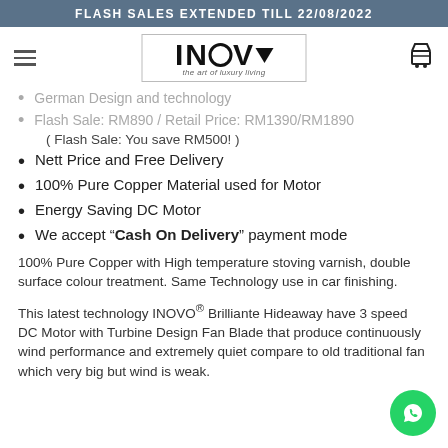FLASH SALES EXTENDED TILL 22/08/2022
[Figure (logo): INOVO logo with tagline 'the art of luxury living']
German Design and technology
Flash Sale: RM890 / Retail Price: RM1390/RM1890
( Flash Sale: You save RM500! )
Nett Price and Free Delivery
100% Pure Copper Material used for Motor
Energy Saving DC Motor
We accept “Cash On Delivery” payment mode
100% Pure Copper with High temperature stoving varnish, double surface colour treatment. Same Technology use in car finishing.
This latest technology INOVO® Brilliante Hideaway have 3 speed DC Motor with Turbine Design Fan Blade that produce continuously wind performance and extremely quiet compare to old traditional fan which very big but wind is weak.